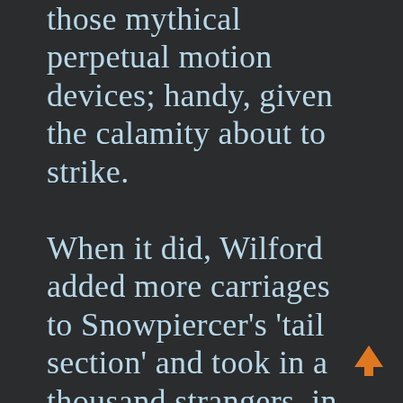those mythical perpetual motion devices; handy, given the calamity about to strike.

When it did, Wilford added more carriages to Snowpiercer's 'tail section' and took in a thousand strangers, in an apparent act of generosity. Once underway, the train wouldn't stop and with nothing but frozen desolation outside, the newcomers had
[Figure (illustration): Orange upward-pointing arrow icon in bottom-right area]